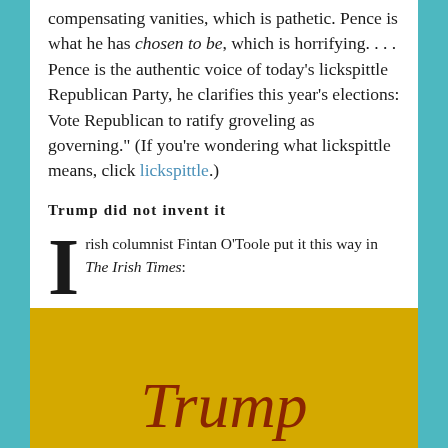compensating vanities, which is pathetic. Pence is what he has chosen to be, which is horrifying. . . . Pence is the authentic voice of today's lickspittle Republican Party, he clarifies this year's elections: Vote Republican to ratify groveling as governing." (If you're wondering what lickspittle means, click lickspittle.)
Trump did not invent it
Irish columnist Fintan O'Toole put it this way in The Irish Times:
[Figure (other): Yellow/gold background box with the word 'Trump' in large dark red italic serif font]